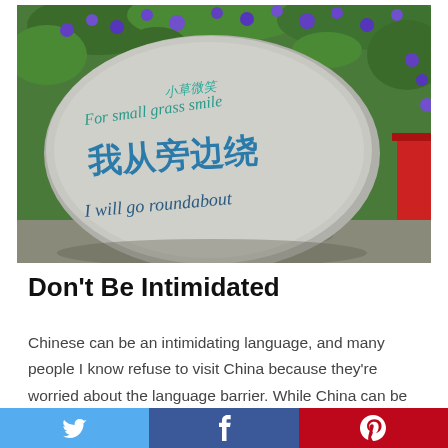[Figure (photo): A large rounded granite stone in a garden with purple flowers, inscribed with Chinese characters and English text: 'For small grass smile', Chinese characters '我从旁边绕', and 'I will go roundabout'. A red chair or object is visible on the right edge.]
Don't Be Intimidated
Chinese can be an intimidating language, and many people I know refuse to visit China because they're worried about the language barrier. While China can be